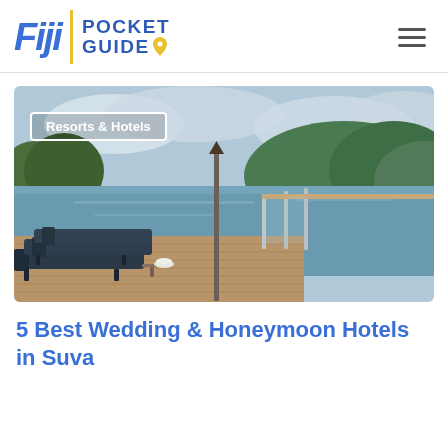Fiji Pocket Guide
[Figure (photo): Outdoor resort deck with dark lounge chairs along a wooden railing overlooking a calm tropical river/bay surrounded by lush green trees and cloudy sky. A label overlay reads 'Resorts & Hotels'.]
5 Best Wedding & Honeymoon Hotels in Suva